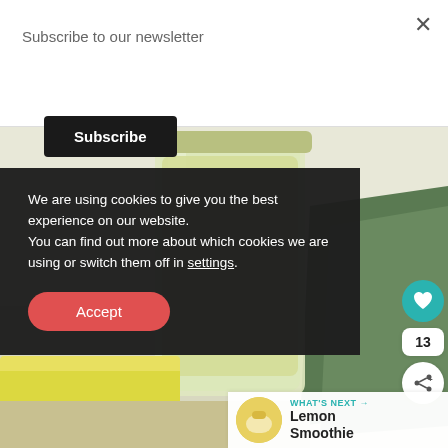Subscribe to our newsletter
Subscribe
[Figure (photo): A glass jar containing a creamy yellowish smoothie or sauce, with a green cloth/napkin visible in the background and yellow/cream colored food items in the foreground.]
We are using cookies to give you the best experience on our website. You can find out more about which cookies we are using or switch them off in settings.
Accept
WHAT'S NEXT → Lemon Smoothie